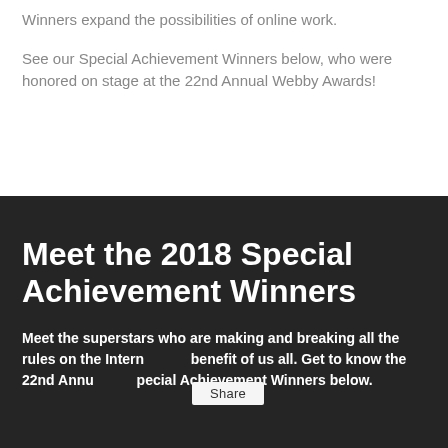Winners expand the possibilities of online work.
See our Special Achievement Winners below, who were honored on stage at the 22nd Annual Webby Awards!
Meet the 2018 Special Achievement Winners
Meet the superstars who are making and breaking all the rules on the Internet for the benefit of us all. Get to know the 22nd Annual Webby Special Achievement Winners below.